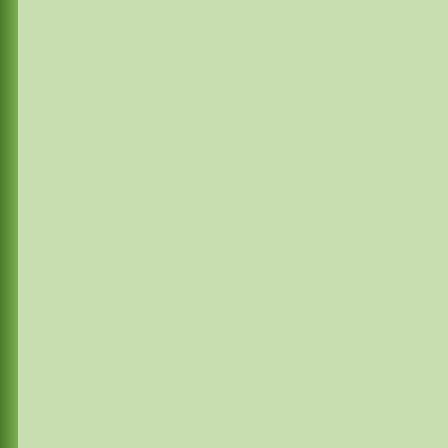Published July 6, 2012 | By Ni...
The New York Times recen... child to be determined long... of the child's father during... amniocentesis. Amniocentesis... a risk of miscarriage or oth...
Implications of Ea...
Knowing who the father is... pregnancy with an undesir... someone she prefers. Also... provide emotional and fina... emotional support could le...
One legal implication, The... states to pursue child supp... couple to come to an agre... mother and court proceedi...
Accuracy, Metho...
The test could be difficult t... sample in addition to the m... DNA from the fetus that are... are being offered have rec... The tests are being offere...